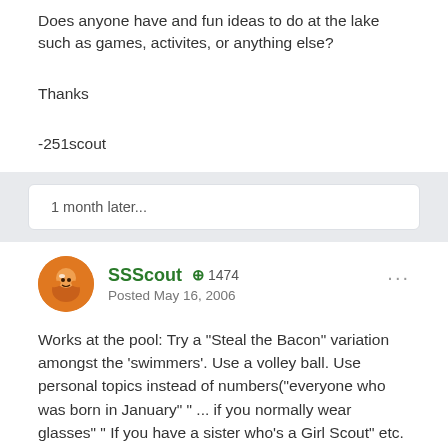Does anyone have and fun ideas to do at the lake such as games, activites, or anything else?
Thanks
-251scout
1 month later...
SSScout +1474 Posted May 16, 2006
Works at the pool: Try a "Steal the Bacon" variation amongst the 'swimmers'. Use a volley ball. Use personal topics instead of numbers("everyone who was born in January" " ... if you normally wear glasses" " If you have a sister who's a Girl Scout" etc. ). Use your magination for topics!